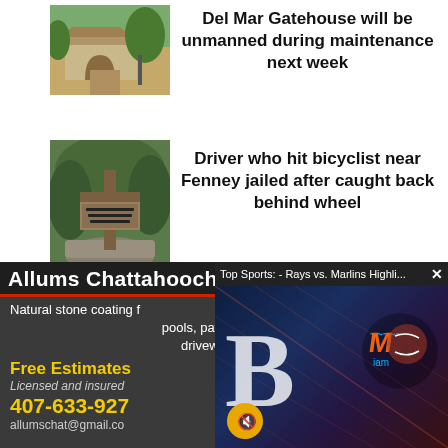[Figure (photo): Photo of Del Mar Gatehouse, a small stone building with arch and gate]
Del Mar Gatehouse will be unmanned during maintenance next week
[Figure (photo): Photo of Fenney area sign, wooden cross-shaped sign on stone base]
Driver who hit bicyclist near Fenney jailed after caught back behind wheel
[Figure (photo): Advertisement for Allums Chattahoochee Riverrock with overlapping video popup for Top Sports: Rays vs. Marlins Highlights]
Allums Chattahoochee Riverrock
Natural stone coating for pools, patios, garage, driveways, etc.
Free Estimates
Licensed and insured
407-633-9278
allumschat@gmail.com
Top Sports: - Rays vs. Marlins Highli...